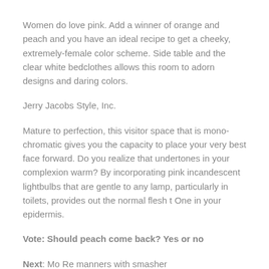Women do love pink. Add a winner of orange and peach and you have an ideal recipe to get a cheeky, extremely-female color scheme. Side table and the clear white bedclothes allows this room to adorn designs and daring colors.
Jerry Jacobs Style, Inc.
Mature to perfection, this visitor space that is mono-chromatic gives you the capacity to place your very best face forward. Do you realize that undertones in your complexion warm? By incorporating pink incandescent lightbulbs that are gentle to any lamp, particularly in toilets, provides out the normal flesh t One in your epidermis.
Vote: Should peach come back? Yes or no
Next: Mo Re manners with smasher